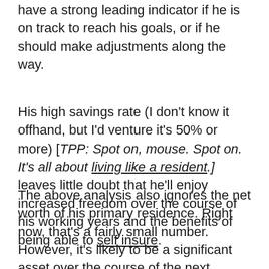have a strong leading indicator if he is on track to reach his goals, or if he should make adjustments along the way.
His high savings rate (I don't know it offhand, but I'd venture it's 50% or more) [TPP: Spot on, mouse. Spot on. It's all about living like a resident.] leaves little doubt that he'll enjoy increased freedom over the course of his working years and the benefits of being able to self insure.
The above analysis also ignores the net worth of his primary residence. Right now, that's a fairly small number. However, it's likely to be a significant asset over the course of the next decade and one that is not